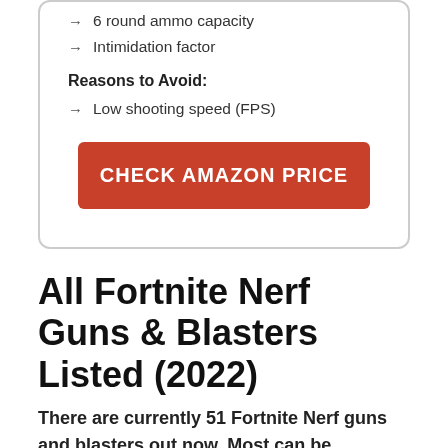6 round ammo capacity
Intimidation factor
Reasons to Avoid:
Low shooting speed (FPS)
CHECK AMAZON PRICE
All Fortnite Nerf Guns & Blasters Listed (2022)
There are currently 51 Fortnite Nerf guns and blasters out now. Most can be purchased individually, but some are only available in special packs. Here are all of